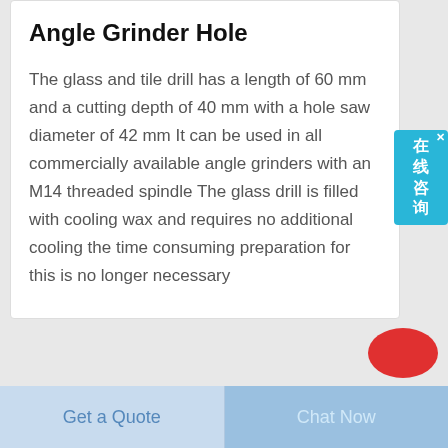Angle Grinder Hole
The glass and tile drill has a length of 60 mm and a cutting depth of 40 mm with a hole saw diameter of 42 mm It can be used in all commercially available angle grinders with an M14 threaded spindle The glass drill is filled with cooling wax and requires no additional cooling the time consuming preparation for this is no longer necessary
在线咨询
Get a Quote
Chat Now